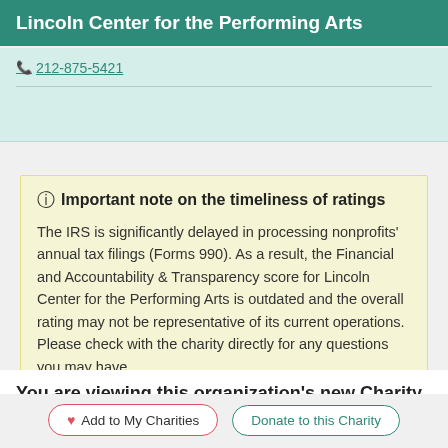Lincoln Center for the Performing Arts
212-875-5421
Important note on the timeliness of ratings
The IRS is significantly delayed in processing nonprofits' annual tax filings (Forms 990). As a result, the Financial and Accountability & Transparency score for Lincoln Center for the Performing Arts is outdated and the overall rating may not be representative of its current operations. Please check with the charity directly for any questions you may have.
You are viewing this organization's new Charity
Add to My Charities  Donate to this Charity